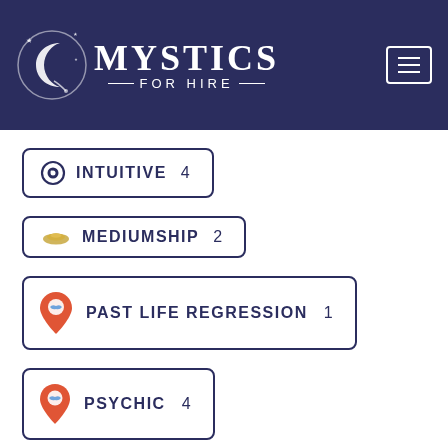MYSTICS FOR HIRE
INTUITIVE 4
MEDIUMSHIP 2
PAST LIFE REGRESSION 1
PSYCHIC 4
RELATIONSHIP RITUALS 1